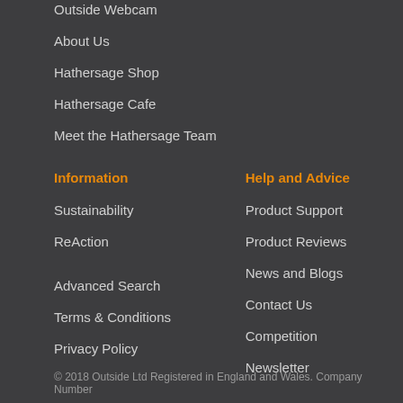Outside Webcam
About Us
Hathersage Shop
Hathersage Cafe
Meet the Hathersage Team
Information
Help and Advice
Sustainability
Product Support
ReAction
Product Reviews
News and Blogs
Advanced Search
Contact Us
Terms & Conditions
Competition
Privacy Policy
Newsletter
© 2018 Outside Ltd Registered in England and Wales. Company Number